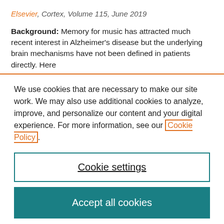Elsevier, Cortex, Volume 115, June 2019
Background: Memory for music has attracted much recent interest in Alzheimer's disease but the underlying brain mechanisms have not been defined in patients directly. Here
We use cookies that are necessary to make our site work. We may also use additional cookies to analyze, improve, and personalize our content and your digital experience. For more information, see our Cookie Policy.
Cookie settings
Accept all cookies